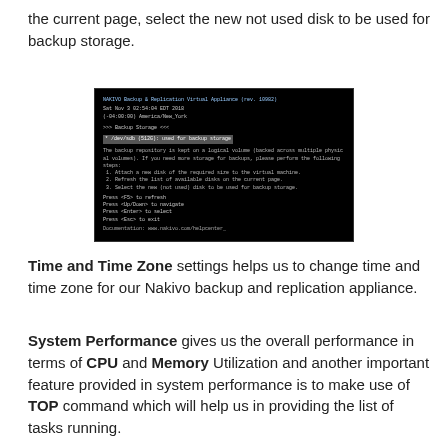the current page, select the new not used disk to be used for backup storage.
[Figure (screenshot): Terminal/console screenshot showing NAKIVO Backup & Replication Virtual Appliance menu for Backup Storage configuration, with highlighted option and navigation instructions.]
Time and Time Zone settings helps us to change time and time zone for our Nakivo backup and replication appliance.
System Performance gives us the overall performance in terms of CPU and Memory Utilization and another important feature provided in system performance is to make use of TOP command which will help us in providing the list of tasks running.